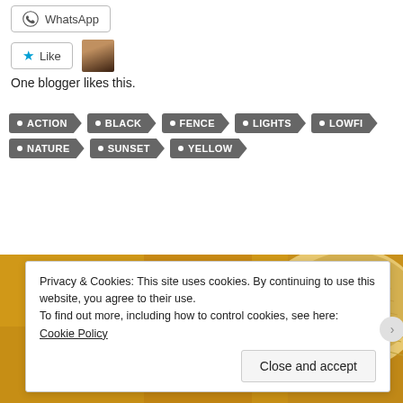WhatsApp
One blogger likes this.
ACTION
BLACK
FENCE
LIGHTS
LOWFI
NATURE
SUNSET
YELLOW
[Figure (photo): Golden/amber background with a straw hat visible on the right side]
Privacy & Cookies: This site uses cookies. By continuing to use this website, you agree to their use. To find out more, including how to control cookies, see here: Cookie Policy
Close and accept